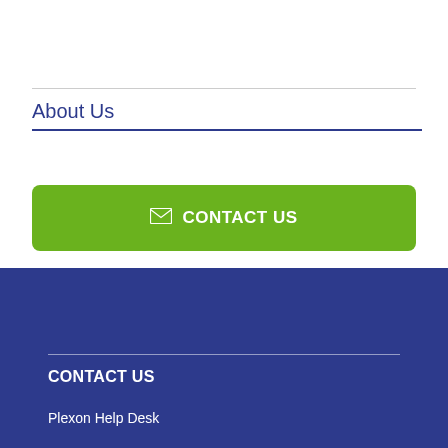About Us
[Figure (other): Green contact us button with envelope icon and text CONTACT US]
CONTACT US
Plexon Help Desk